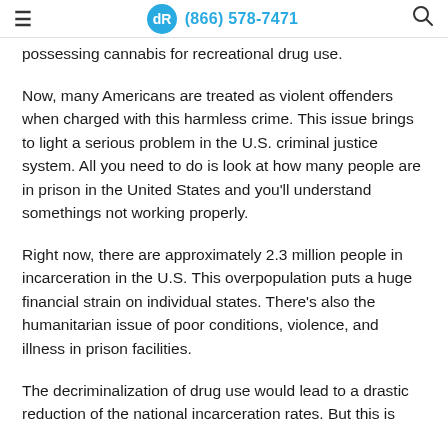(866) 578-7471
possessing cannabis for recreational drug use.
Now, many Americans are treated as violent offenders when charged with this harmless crime. This issue brings to light a serious problem in the U.S. criminal justice system. All you need to do is look at how many people are in prison in the United States and you'll understand somethings not working properly.
Right now, there are approximately 2.3 million people in incarceration in the U.S. This overpopulation puts a huge financial strain on individual states. There's also the humanitarian issue of poor conditions, violence, and illness in prison facilities.
The decriminalization of drug use would lead to a drastic reduction of the national incarceration rates. But this is